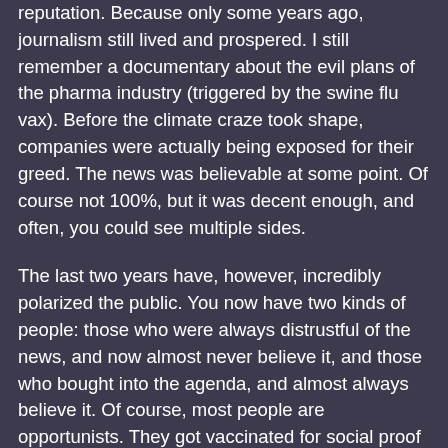reputation. Because only some years ago, journalism still lived and prospered. I still remember a documentary about the evil plans of the pharma industry (triggered by the swine flu vax). Before the climate craze took shape, companies were actually being exposed for their greed. The news was believable at some point. Of course not 100%, but it was decent enough, and often, you could see multiple sides.
The last two years have, however, incredibly polarized the public. You now have two kinds of people: those who were always distrustful of the news, and now almost never believe it, and those who bought into the agenda, and almost always believe it. Of course, most people are opportunists. They got vaccinated for social proof and freedom, and are now part of the blob, which is why they choose to believe what they are told. But deep down, they know it's all a lie. I'm quite sure that most people don't truly believe the news, but it takes a conversation and some measured questions to uncover that.
As for your theory on the elites: they are certainly evil. You